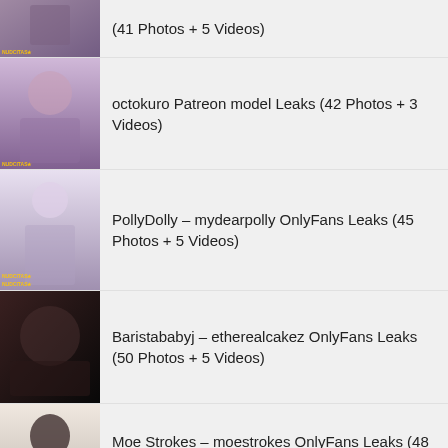(41 Photos + 5 Videos)
octokuro Patreon model Leaks (42 Photos + 3 Videos)
PollyDolly – mydearpolly OnlyFans Leaks (45 Photos + 5 Videos)
Baristababyj – etherealcakez OnlyFans Leaks (50 Photos + 5 Videos)
Moe Strokes – moestrokes OnlyFans Leaks (48 Photos + 3 Videos)